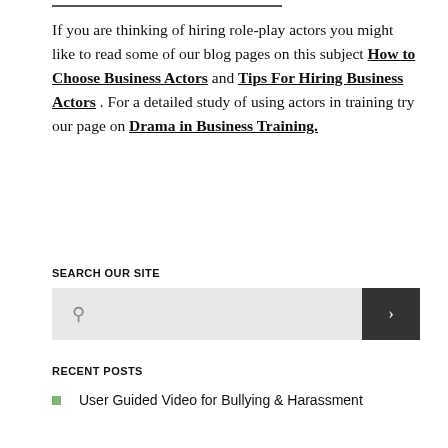If you are thinking of hiring role-play actors you might like to read some of our blog pages on this subject How to Choose Business Actors and Tips For Hiring Business Actors . For a detailed study of using actors in training try our page on Drama in Business Training.
SEARCH OUR SITE
RECENT POSTS
User Guided Video for Bullying & Harassment